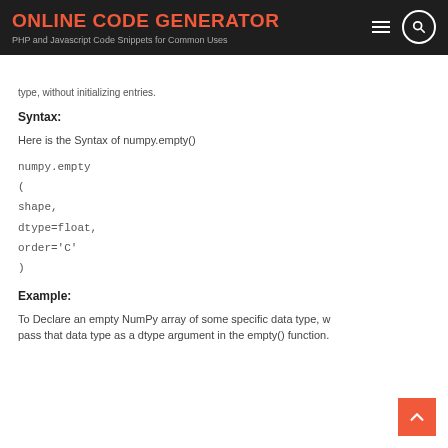ONLINE CODE GENERATOR
PHP and Javascript Code Snippets for Common Uses
type, without initializing entries.
Syntax:
Here is the Syntax of numpy.empty()
numpy.empty
(
shape,
dtype=float,
order='C'
)
Example:
To Declare an empty NumPy array of some specific data type, we pass that data type as a dtype argument in the empty() function.